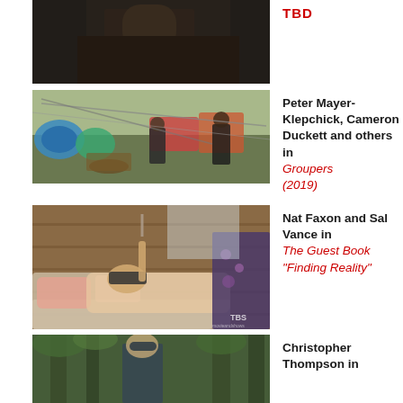[Figure (photo): Top cropped photo of a man in dark clothing, partially visible at top of page]
TBD
[Figure (photo): People in an outdoor area with graffiti wall and rigging equipment, film set scene]
Peter Mayer-Klepchick, Cameron Duckett and others in Groupers (2019)
[Figure (photo): Man lying on couch wearing a blindfold/VR headset, shirtless, indoors, TBS watermark]
Nat Faxon and Sal Vance in The Guest Book "Finding Reality"
[Figure (photo): Man standing outdoors among trees, partially visible at bottom of page]
Christopher Thompson in